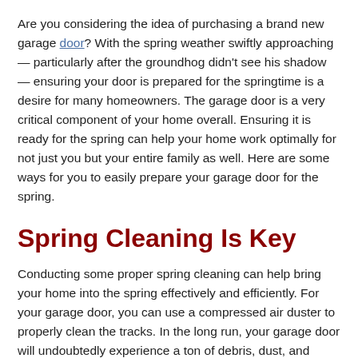Are you considering the idea of purchasing a brand new garage door? With the spring weather swiftly approaching — particularly after the groundhog didn't see his shadow — ensuring your door is prepared for the springtime is a desire for many homeowners. The garage door is a very critical component of your home overall. Ensuring it is ready for the spring can help your home work optimally for not just you but your entire family as well. Here are some ways for you to easily prepare your garage door for the spring.
Spring Cleaning Is Key
Conducting some proper spring cleaning can help bring your home into the spring effectively and efficiently. For your garage door, you can use a compressed air duster to properly clean the tracks. In the long run, your garage door will undoubtedly experience a ton of debris, dust, and grime.